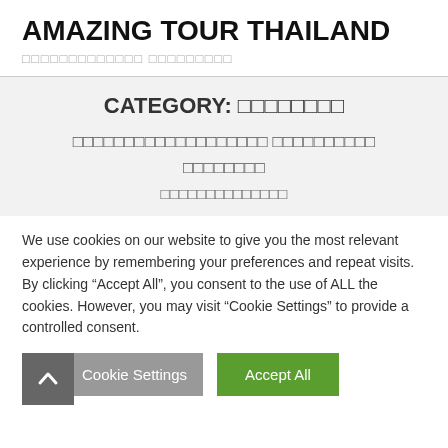AMAZING TOUR THAILAND
□□□□□□□□□□□□□ □□□□□□□□□
CATEGORY: □□□□□□□□
□□□□□□□□□□□□□□□□□□□ □□□□□□□□□□ □□□□□□□□
□□□□□□□□□□□□□□
We use cookies on our website to give you the most relevant experience by remembering your preferences and repeat visits. By clicking "Accept All", you consent to the use of ALL the cookies. However, you may visit "Cookie Settings" to provide a controlled consent.
Cookie Settings | Accept All